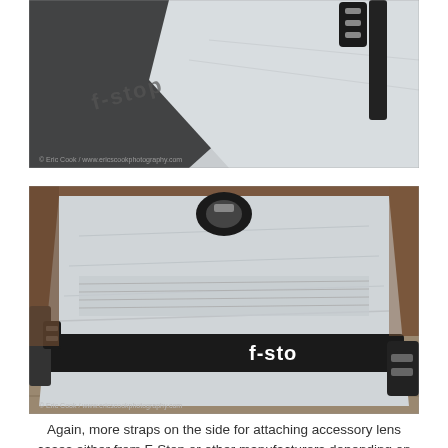[Figure (photo): Close-up photo of an F-Stop backpack showing the top portion with white/grey fabric, black trim, and black plastic buckle/strap hardware. The F-Stop logo is visible in the lower left of the image.]
[Figure (photo): Photo of an F-Stop camera bag laid flat on wooden boards outdoors, showing the white/grey main body with side straps, black waist strap with 'f-stop' logo text, and black buckle hardware. Background shows reddish-brown dirt/gravel.]
Again, more straps on the side for attaching accessory lens cases either from F-Stop or other manufacturers depending on your